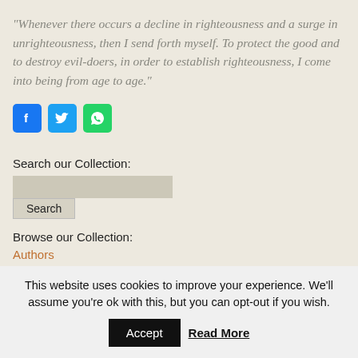“Whenever there occurs a decline in righteousness and a surge in unrighteousness, then I send forth myself. To protect the good and to destroy evil-doers, in order to establish righteousness, I come into being from age to age.”
[Figure (other): Social media share buttons: Facebook (blue), Twitter (light blue), WhatsApp (green)]
Search our Collection:
Browse our Collection:
Authors
File Types
This website uses cookies to improve your experience. We’ll assume you’re ok with this, but you can opt-out if you wish.